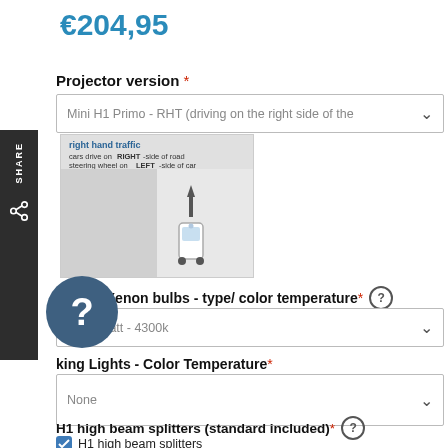€204,95
Projector version *
Mini H1 Primo - RHT (driving on the right side of the
[Figure (illustration): Right hand traffic diagram: text says 'right hand traffic - cars drive on RIGHT-side of road - steering wheel on LEFT-side of car', with a road diagram showing a car on the right side]
H1 HID Xenon bulbs - type/ color temperature *
H1 35watt - 4300k
king Lights - Color Temperature *
None
H1 high beam splitters (standard included) *
H1 high beam splitters